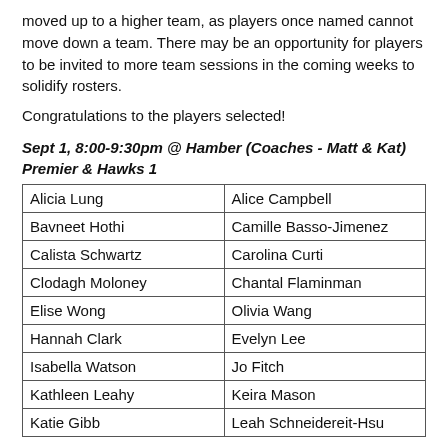moved up to a higher team, as players once named cannot move down a team. There may be an opportunity for players to be invited to more team sessions in the coming weeks to solidify rosters.
Congratulations to the players selected!
Sept 1, 8:00-9:30pm @ Hamber (Coaches - Matt & Kat) Premier & Hawks 1
| Alicia Lung | Alice Campbell |
| Bavneet Hothi | Camille Basso-Jimenez |
| Calista Schwartz | Carolina Curti |
| Clodagh Moloney | Chantal Flaminman |
| Elise Wong | Olivia Wang |
| Hannah Clark | Evelyn Lee |
| Isabella Watson | Jo Fitch |
| Kathleen Leahy | Keira Mason |
| Katie Gibb | Leah Schneidereit-Hsu |